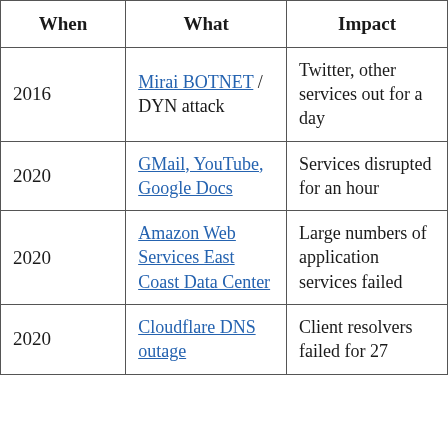| When | What | Impact |
| --- | --- | --- |
| 2016 | Mirai BOTNET / DYN attack | Twitter, other services out for a day |
| 2020 | GMail, YouTube, Google Docs | Services disrupted for an hour |
| 2020 | Amazon Web Services East Coast Data Center | Large numbers of application services failed |
| 2020 | Cloudflare DNS outage | Client resolvers failed for 27 |